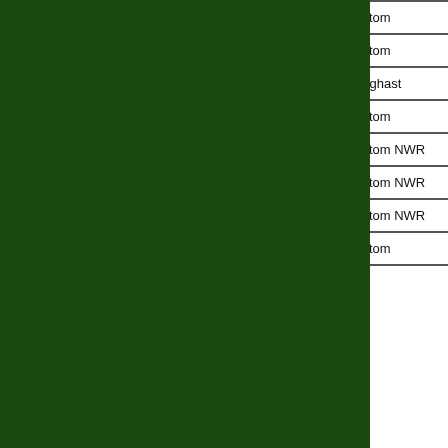| # | Bird | Location | Town |
| --- | --- | --- | --- |
| 199 | Black-and-white Warbler | Trustom | South Kingstown |
| 198 | Cave Swallow (vagrant) | Trustom | South Kingstown |
| 197 | Eastern Whip-poor-will | Tillinghast | West Greenwich |
| 196 | Northern Parula | Trustom | South Kingstown |
| 195 | Cliff Swallow | Trustom NWR | South Kingstown |
| 194 | Bank Swallow | Trustom NWR | South Kingstown |
| 193 | White-eyed Vireo | Trustom NWR | South Kingstown |
| 192 | House Wren | Trustom | South Kingstown |